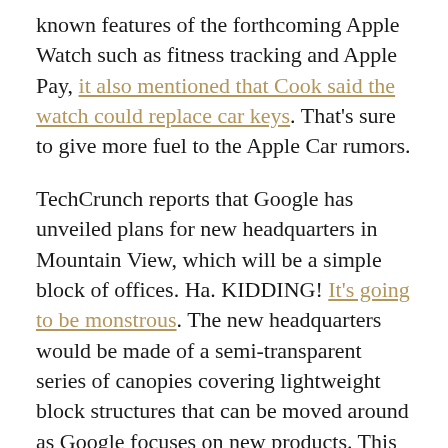known features of the forthcoming Apple Watch such as fitness tracking and Apple Pay, it also mentioned that Cook said the watch could replace car keys. That's sure to give more fuel to the Apple Car rumors.
TechCrunch reports that Google has unveiled plans for new headquarters in Mountain View, which will be a simple block of offices. Ha. KIDDING! It's going to be monstrous. The new headquarters would be made of a semi-transparent series of canopies covering lightweight block structures that can be moved around as Google focuses on new products. This is the first time Google has designed and built new offices from scratch, and it partnered with Bjarke Ingels at BIG and Thomas Heatherwick at Heatherwick Studio to create the design. The nearly ten-minute video of the concept is best enjoyed with a tiny espresso and a masters in